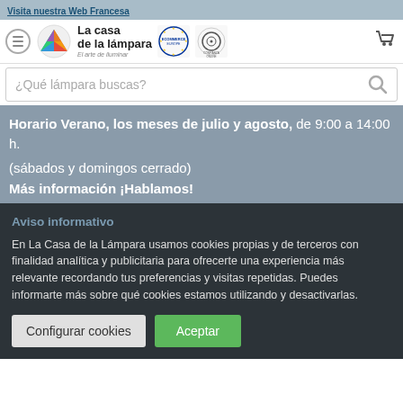Visita nuestra Web Francesa
[Figure (logo): La Casa de la Lámpara logo with colorful triangle icon, Ecommerce Europe badge, and Confianza Online badge]
¿Qué lámpara buscas?
Horario Verano, los meses de julio y agosto, de 9:00 a 14:00 h.
(sábados y domingos cerrado)
Más información ¡Hablamos!
Aviso informativo
En La Casa de la Lámpara usamos cookies propias y de terceros con finalidad analítica y publicitaria para ofrecerte una experiencia más relevante recordando tus preferencias y visitas repetidas. Puedes informarte más sobre qué cookies estamos utilizando y desactivarlas.
Configurar cookies | Aceptar